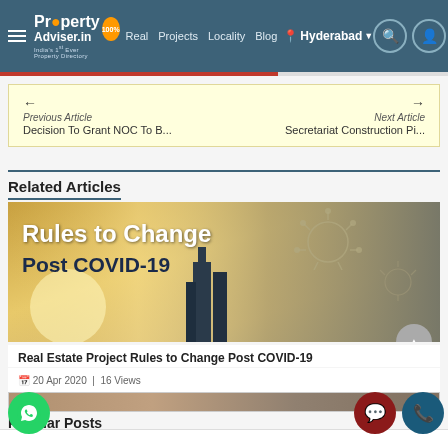Property Adviser.in — India's 1st Ever Property Directory | Real | Projects | Locality | Blog | Hyderabad
← Previous Article
Decision To Grant NOC To B...
Next Article →
Secretariat Construction Pi...
Related Articles
[Figure (photo): Article thumbnail showing 'Rules to Change Post COVID-19' text over a golden background with a building silhouette and coronavirus particle illustrations]
Real Estate Project Rules to Change Post COVID-19
📅 20 Apr 2020 | 16 Views
Popular Posts